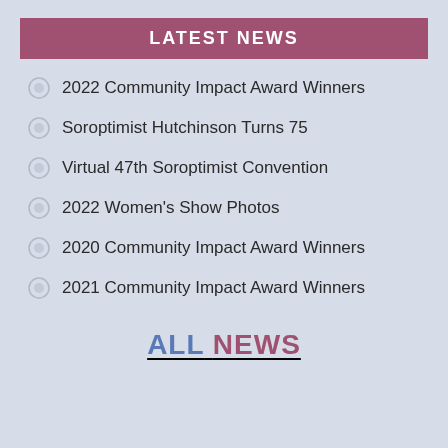LATEST NEWS
2022 Community Impact Award Winners
Soroptimist Hutchinson Turns 75
Virtual 47th Soroptimist Convention
2022 Women's Show Photos
2020 Community Impact Award Winners
2021 Community Impact Award Winners
ALL NEWS